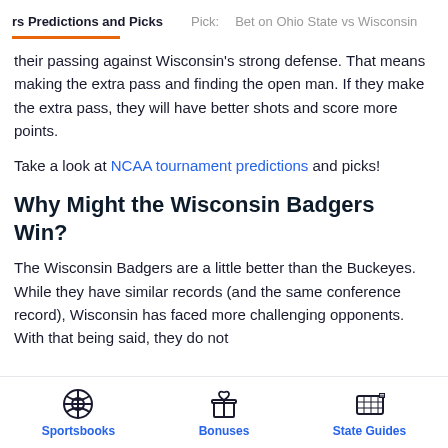rs Predictions and Picks   Pick:   Bet on Ohio State vs Wisconsin
their passing against Wisconsin's strong defense. That means making the extra pass and finding the open man. If they make the extra pass, they will have better shots and score more points.
Take a look at NCAA tournament predictions and picks!
Why Might the Wisconsin Badgers Win?
The Wisconsin Badgers are a little better than the Buckeyes. While they have similar records (and the same conference record), Wisconsin has faced more challenging opponents. With that being said, they do not
Sportsbooks   Bonuses   State Guides